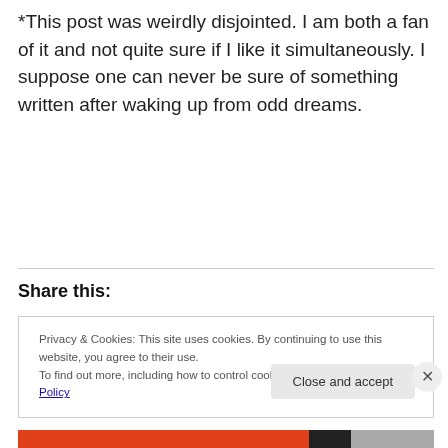*This post was weirdly disjointed. I am both a fan of it and not quite sure if I like it simultaneously. I suppose one can never be sure of something written after waking up from odd dreams.
Share this:
Privacy & Cookies: This site uses cookies. By continuing to use this website, you agree to their use.
To find out more, including how to control cookies, see here: Cookie Policy